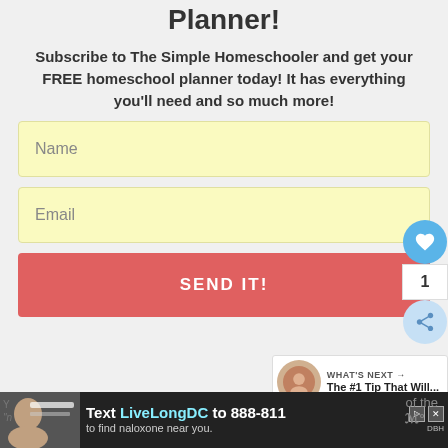Planner!
Subscribe to The Simple Homeschooler and get your FREE homeschool planner today! It has everything you'll need and so much more!
[Figure (screenshot): Web form with Name input field, Email input field, and a SEND IT! button in coral red. Side buttons show a heart icon with count 1 and a share icon. A 'What's Next' thumbnail shows 'The #1 Tip That Will...']
[Figure (screenshot): Ad banner at bottom: 'Text LiveLongDC to 888-811 to find naloxone near you.' on dark background]